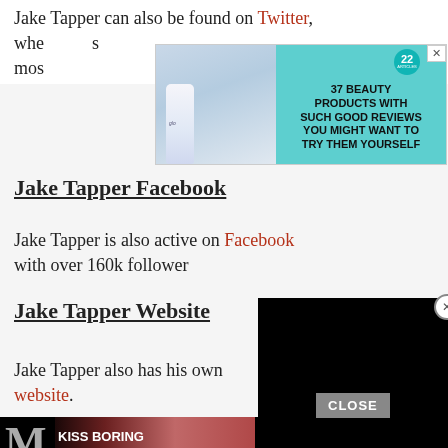Jake Tapper can also be found on Twitter, where his posts are considered among the most...
[Figure (photo): Advertisement banner for beauty products: woman with long hair, glo product bottle on left, teal background with text '22 — 37 BEAUTY PRODUCTS WITH SUCH GOOD REVIEWS YOU MIGHT WANT TO TRY THEM YOURSELF' on right, with close X button]
Jake Tapper Facebook
Jake Tapper is also active on Facebook with over 160k followers.
[Figure (screenshot): Black video player overlay panel partially covering content, with close (X) button in top right corner]
Jake Tapper Website
Jake Tapper also has his own website.
[Figure (photo): Bottom advertisement: Macy's ad with 'KISS BORING LIPS GOODBYE' tagline, woman with red lipstick, SHOP NOW button, and Macy's star logo. CLOSE button above.]